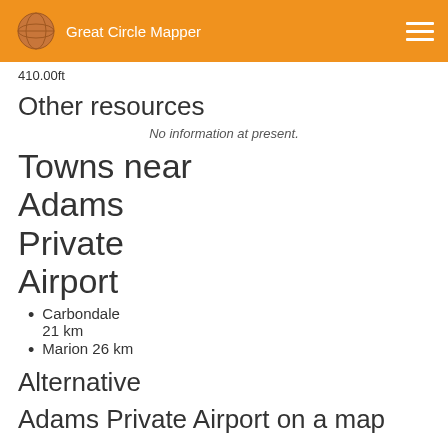Great Circle Mapper
410.00ft
Other resources
No information at present.
Towns near Adams Private Airport
Carbondale 21 km
Marion 26 km
Alternative
Adams Private Airport on a map